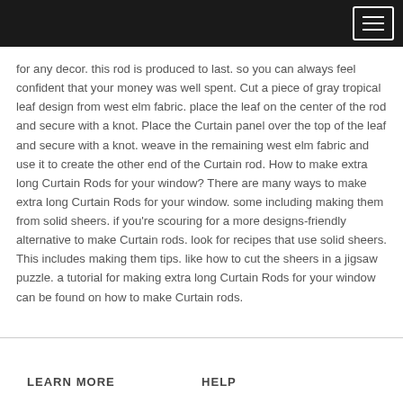for any decor. this rod is produced to last. so you can always feel confident that your money was well spent. Cut a piece of gray tropical leaf design from west elm fabric. place the leaf on the center of the rod and secure with a knot. Place the Curtain panel over the top of the leaf and secure with a knot. weave in the remaining west elm fabric and use it to create the other end of the Curtain rod. How to make extra long Curtain Rods for your window? There are many ways to make extra long Curtain Rods for your window. some including making them from solid sheers. if you're scouring for a more designs-friendly alternative to make Curtain rods. look for recipes that use solid sheers. This includes making them tips. like how to cut the sheers in a jigsaw puzzle. a tutorial for making extra long Curtain Rods for your window can be found on how to make Curtain rods.
LEARN MORE   HELP